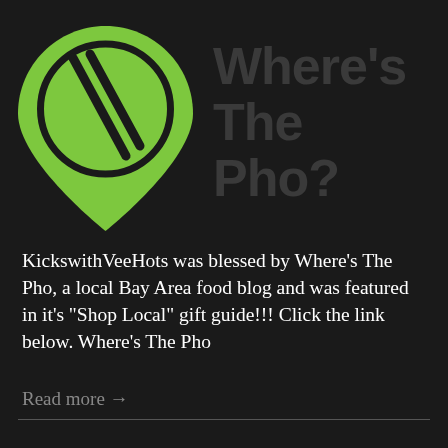[Figure (logo): Where's The Pho logo: a green map pin shape containing a circle with two chopsticks, next to bold dark text reading Where's The Pho?]
KickswithVeeHots was blessed by Where's The Pho, a local Bay Area food blog and was featured in it's "Shop Local" gift guide!!! Click the link below. Where's The Pho
Read more →